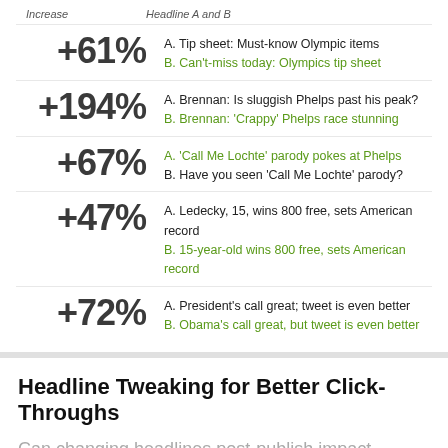| Increase | Headline A and B |
| --- | --- |
| +61% | A. Tip sheet: Must-know Olympic items
B. Can't-miss today: Olympics tip sheet |
| +194% | A. Brennan: Is sluggish Phelps past his peak?
B. Brennan: 'Crappy' Phelps race stunning |
| +67% | A. 'Call Me Lochte' parody pokes at Phelps
B. Have you seen 'Call Me Lochte' parody? |
| +47% | A. Ledecky, 15, wins 800 free, sets American record
B. 15-year-old wins 800 free, sets American record |
| +72% | A. President's call great; tweet is even better
B. Obama's call great, but tweet is even better |
Headline Tweaking for Better Click-Throughs
Can changing headlines post-publish impact readership of an article? According to Visual Revenue, an analytic tool provider, during the 2012 Olympics, USA Today underwent a testing campaign of their headlines. As you